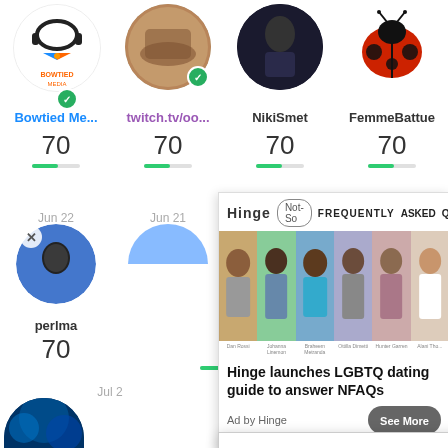[Figure (screenshot): Social media influencer ranking page showing profile cards with avatars, usernames, scores, and progress bars. Overlaid by a Hinge dating app advertisement.]
Bowtied Me...
twitch.tv/oo...
NikiSmet
FemmeBattue
70
70
70
70
Jun 22
Jun 21
Jun 22
Jun 17
perlma
haw...
70
Jul 2
21
[Figure (infographic): Hinge ad overlay: Not-So Frequently Asked Questions banner with photos of diverse people. Text reads: Hinge launches LGBTQ dating guide to answer NFAQs. Ad by Hinge. See More button.]
Hinge launches LGBTQ dating guide to answer NFAQs
Ad by Hinge
See More